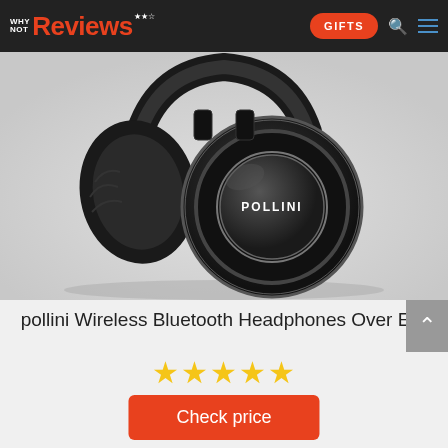WHY NOT Reviews | GIFTS
[Figure (photo): Close-up photo of black Pollini over-ear wireless Bluetooth headphones on light gray background]
pollini Wireless Bluetooth Headphones Over Ear
★★★★★ (5 stars)
Check price